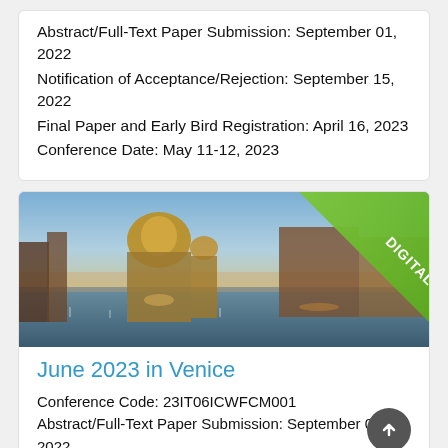Abstract/Full-Text Paper Submission: September 01, 2022
Notification of Acceptance/Rejection: September 15, 2022
Final Paper and Early Bird Registration: April 16, 2023
Conference Date: May 11-12, 2023
[Figure (photo): Panoramic view of Venice Grand Canal with Santa Maria della Salute basilica at dusk, with a diagonal green 'DIGITAL' banner in the top-right corner]
June 2023 in Venice
Conference Code: 23IT06ICWFCM001
Abstract/Full-Text Paper Submission: September 01, 2022